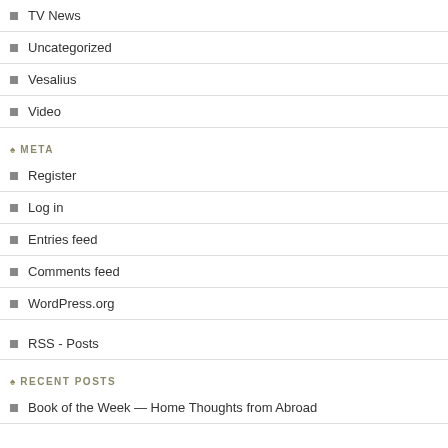TV News
Uncategorized
Vesalius
Video
META
Register
Log in
Entries feed
Comments feed
WordPress.org
RSS - Posts
RECENT POSTS
Book of the Week — Home Thoughts from Abroad